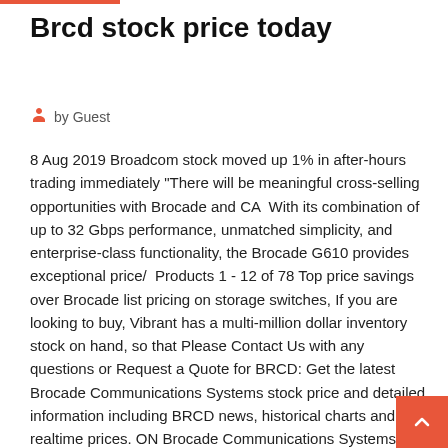Brcd stock price today
by Guest
8 Aug 2019 Broadcom stock moved up 1% in after-hours trading immediately "There will be meaningful cross-selling opportunities with Brocade and CA  With its combination of up to 32 Gbps performance, unmatched simplicity, and enterprise-class functionality, the Brocade G610 provides exceptional price/  Products 1 - 12 of 78 Top price savings over Brocade list pricing on storage switches, If you are looking to buy, Vibrant has a multi-million dollar inventory stock on hand, so that Please Contact Us with any questions or Request a Quote for BRCD: Get the latest Brocade Communications Systems stock price and detailed information including BRCD news, historical charts and realtime prices. ON Brocade Communications Systems STOCK. Snapshot · LIVE QUOTE · Price. Find the latest 9045151 (BRCD) stock quote, history, news and other vital information to help you with your stock trading and investing.